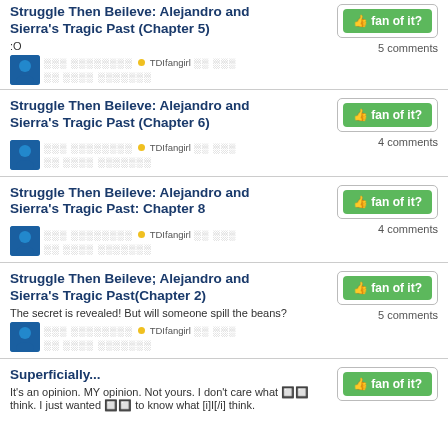Struggle Then Beileve: Alejandro and Sierra's Tragic Past (Chapter 5)
:O
░░░ ░░░░░░░░ ● TDIfangirl ░░ ░░░  ░░ ░░░░ ░░░░░░░
5 comments
Struggle Then Beileve: Alejandro and Sierra's Tragic Past (Chapter 6)
░░░ ░░░░░░░░ ● TDIfangirl ░░ ░░░  ░░ ░░░░ ░░░░░░░
4 comments
Struggle Then Beileve: Alejandro and Sierra's Tragic Past: Chapter 8
░░░ ░░░░░░░░ ● TDIfangirl ░░ ░░░  ░░ ░░░░ ░░░░░░░
4 comments
Struggle Then Beileve; Alejandro and Sierra's Tragic Past(Chapter 2)
The secret is revealed! But will someone spill the beans?
░░░ ░░░░░░░░ ● TDIfangirl ░░ ░░░  ░░ ░░░░ ░░░░░░░
5 comments
Superficially...
It's an opinion. MY opinion. Not yours. I don't care what 🔲🔲 think. I just wanted 🔲🔲 to know what [i]I[/i] think.